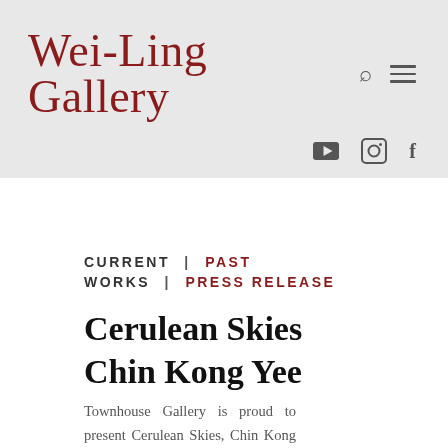Wei-Ling Gallery
CURRENT | PAST
WORKS | PRESS RELEASE
Cerulean Skies
Chin Kong Yee
Townhouse Gallery is proud to present Cerulean Skies, Chin Kong Yee's second solo exhibition with us. Inspired by